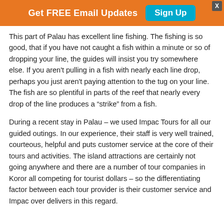Get FREE Email Updates  Sign Up
This part of Palau has excellent line fishing. The fishing is so good, that if you have not caught a fish within a minute or so of dropping your line, the guides will insist you try somewhere else. If you aren't pulling in a fish with nearly each line drop, perhaps you just aren't paying attention to the tug on your line. The fish are so plentiful in parts of the reef that nearly every drop of the line produces a “strike” from a fish.
During a recent stay in Palau – we used Impac Tours for all our guided outings. In our experience, their staff is very well trained, courteous, helpful and puts customer service at the core of their tours and activities. The island attractions are certainly not going anywhere and there are a number of tour companies in Koror all competing for tourist dollars – so the differentiating factor between each tour provider is their customer service and Impac over delivers in this regard.